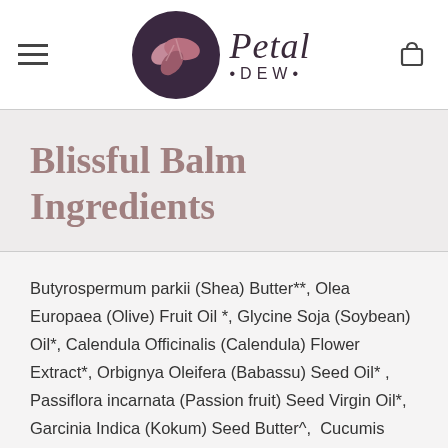[Figure (logo): Petal Dew brand logo with circular icon featuring pink leaves on dark purple background, with italic cursive 'Petal' and 'DEW' text]
Blissful Balm Ingredients
Butyrospermum parkii (Shea) Butter**, Olea Europaea (Olive) Fruit Oil *, Glycine Soja (Soybean) Oil*, Calendula Officinalis (Calendula) Flower Extract*, Orbignya Oleifera (Babassu) Seed Oil* , Passiflora incarnata (Passion fruit) Seed Virgin Oil*, Garcinia Indica (Kokum) Seed Butter^,  Cucumis Sativus (Cucumber) Seed Oil, Oryza Sativa (Rice) Bran Wax,